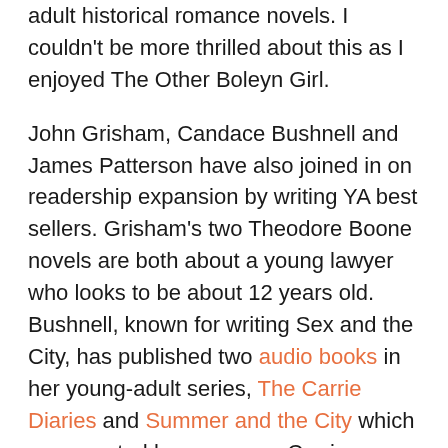adult historical romance novels. I couldn't be more thrilled about this as I enjoyed The Other Boleyn Girl.
John Grisham, Candace Bushnell and James Patterson have also joined in on readership expansion by writing YA best sellers. Grisham's two Theodore Boone novels are both about a young lawyer who looks to be about 12 years old. Bushnell, known for writing Sex and the City, has published two audio books in her young-adult series, The Carrie Diaries and Summer and the City which are narrated by a younger Carrie. Patterson has also written Middle School: The Worst Years